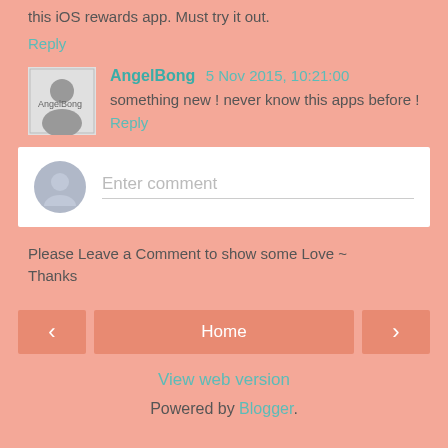this iOS rewards app. Must try it out.
Reply
AngelBong 5 Nov 2015, 10:21:00
something new ! never know this apps before !
Reply
Enter comment
Please Leave a Comment to show some Love ~ Thanks
Home
View web version
Powered by Blogger.